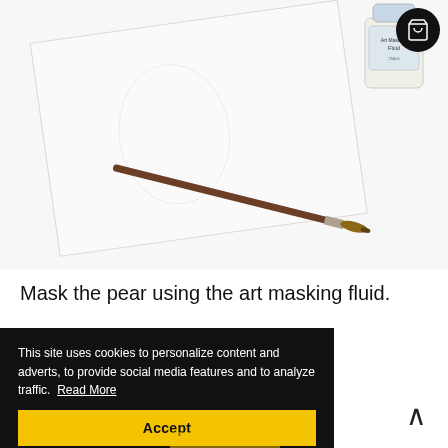[Figure (photo): A photo showing a white canvas/paper tilted at an angle with a brown paintbrush resting on it, and a bottle of art masking fluid in the upper right corner. White background.]
Mask the pear using the art masking fluid.
This site uses cookies to personalize content and adverts, to provide social media features and to analyze traffic. Read More
Accept